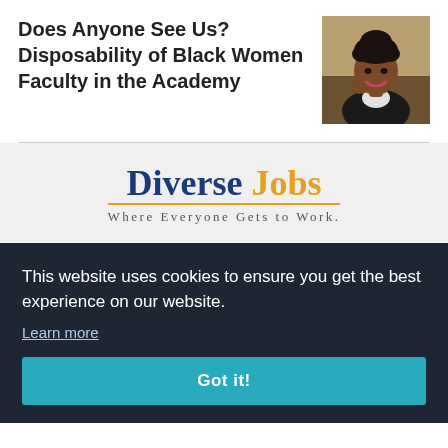Does Anyone See Us? Disposability of Black Women Faculty in the Academy
[Figure (photo): Headshot portrait of a Black woman with braided hair updo, smiling, wearing professional attire]
[Figure (logo): Diverse Jobs logo — 'Diverse' in dark blue bold serif, 'Jobs' in orange bold serif, tagline 'Where Everyone Gets to Work.' underlined in orange]
This website uses cookies to ensure you get the best experience on our website.
Learn more
Got it!